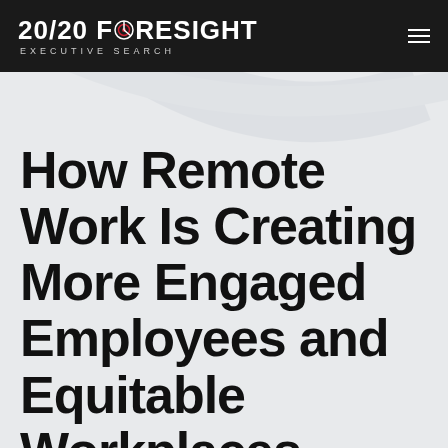20/20 FORESIGHT EXECUTIVE SEARCH
How Remote Work Is Creating More Engaged Employees and Equitable Workplaces